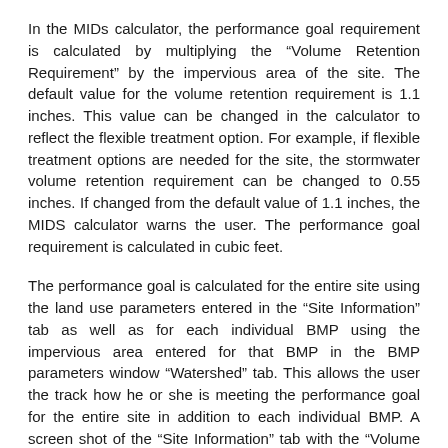In the MIDs calculator, the performance goal requirement is calculated by multiplying the “Volume Retention Requirement” by the impervious area of the site. The default value for the volume retention requirement is 1.1 inches. This value can be changed in the calculator to reflect the flexible treatment option. For example, if flexible treatment options are needed for the site, the stormwater volume retention requirement can be changed to 0.55 inches. If changed from the default value of 1.1 inches, the MIDS calculator warns the user. The performance goal requirement is calculated in cubic feet.
The performance goal is calculated for the entire site using the land use parameters entered in the “Site Information” tab as well as for each individual BMP using the impervious area entered for that BMP in the BMP parameters window “Watershed” tab. This allows the user the track how he or she is meeting the performance goal for the entire site in addition to each individual BMP. A screen shot of the “Site Information” tab with the “Volume retention Requirement” and site “Impervious area” fields used in the volume reduction performance goal calculation highlighted is displayed below.